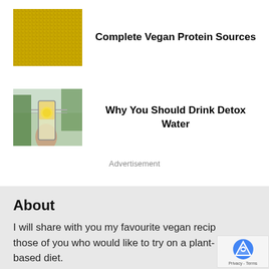[Figure (photo): Close-up photo of golden quinoa grains]
Complete Vegan Protein Sources
[Figure (photo): Person holding a glass of detox water with lemon, outdoors with green plants in background]
Why You Should Drink Detox Water
Advertisement
About
I will share with you my favourite vegan recip[es for] those of you who would like to try on a plant-[based diet.]